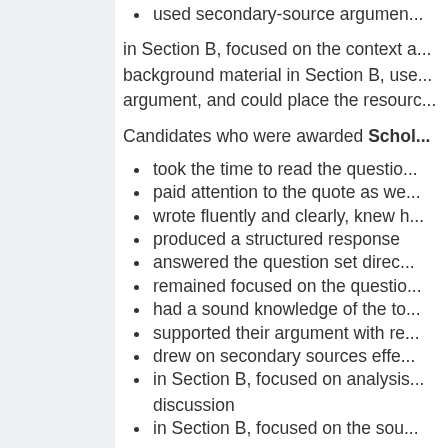used secondary-source argumen...
in Section B, focused on the context a... background material in Section B, use... argument, and could place the resourc...
Candidates who were awarded Schol...
took the time to read the questio...
paid attention to the quote as we...
wrote fluently and clearly, knew h...
produced a structured response
answered the question set direc...
remained focused on the questio...
had a sound knowledge of the to...
supported their argument with re...
drew on secondary sources effe...
in Section B, focused on analysis... discussion
in Section B, focused on the sou... sources.
Candidates who were not awarded Sc...
failed to write clearly and / or str...